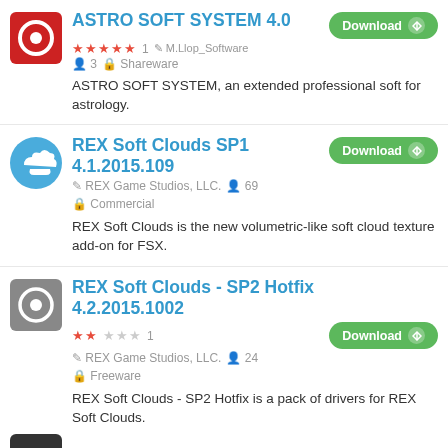ASTRO SOFT SYSTEM 4.0 — ★★★★★ 1 M.Llop_Software ♟3 Shareware — Download — ASTRO SOFT SYSTEM, an extended professional soft for astrology.
REX Soft Clouds SP1 4.1.2015.109 — REX Game Studios, LLC. ♟69 Commercial — Download — REX Soft Clouds is the new volumetric-like soft cloud texture add-on for FSX.
REX Soft Clouds - SP2 Hotfix 4.2.2015.1002 — ★★☆☆☆ 1 REX Game Studios, LLC. ♟24 Freeware — Download — REX Soft Clouds - SP2 Hotfix is a pack of drivers for REX Soft Clouds.